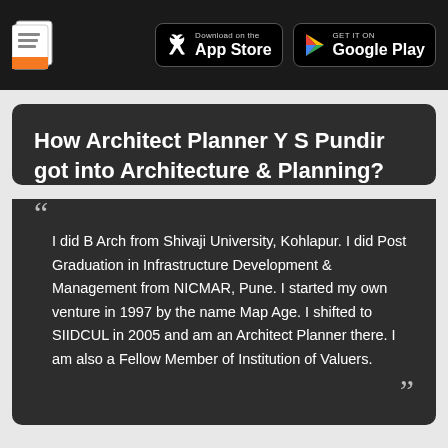App Store | Google Play header with logo
How Architect Planner Y S Pundir got into Architecture & Planning?
I did B Arch from Shivaji University, Kohlapur. I did Post Graduation in Infrastructure Development & Management from NICMAR, Pune. I started my own venture in 1997 by the name Map Age. I shifted to SIIDCUL in 2005 and am an Architect Planner there. I am also a Fellow Member of Institution of Valuers.